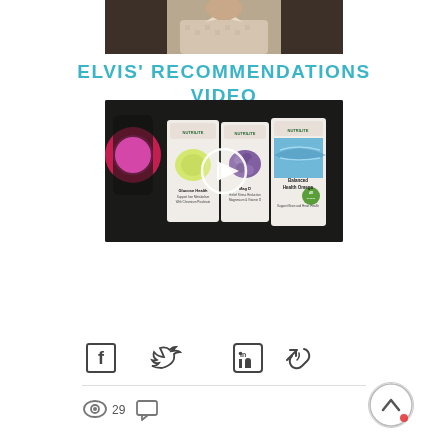[Figure (photo): Top portion of a person wearing a light checkered shirt, cropped at the shoulders, against a muted background]
ELVIS' RECOMMENDATIONS VIDEO
[Figure (screenshot): Video thumbnail showing Nutrilite supplement bottles (Glucose Health, Balanced Health Omega, and another product) with a play button overlay in the center]
[Figure (infographic): Social share icons: Facebook, Twitter, LinkedIn, and a link/chain icon]
29
Comment icon and view count 29